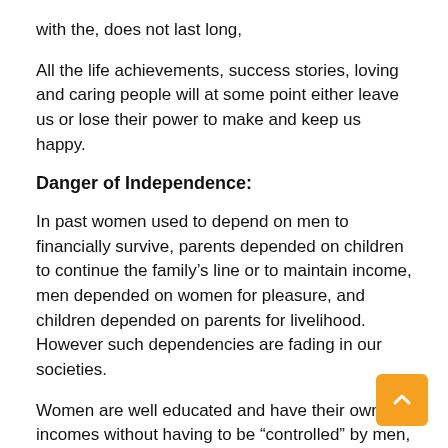with the, does not last long,
All the life achievements, success stories, loving and caring people will at some point either leave us or lose their power to make and keep us happy.
Danger of Independence:
In past women used to depend on men to financially survive, parents depended on children to continue the family’s line or to maintain income, men depended on women for pleasure, and children depended on parents for livelihood. However such dependencies are fading in our societies.
Women are well educated and have their own incomes without having to be “controlled” by men,
Men can access sex dolls, porn, and clubs to